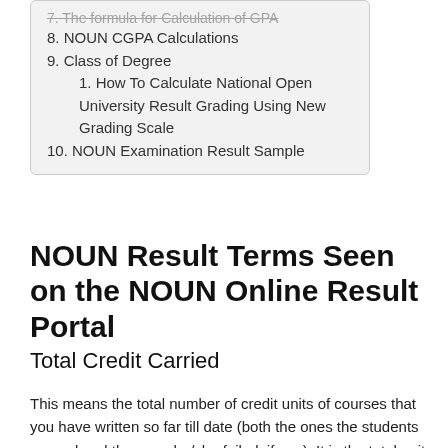7. The formula for Calculation of GPA
8. NOUN CGPA Calculations
9. Class of Degree
1. How To Calculate National Open University Result Grading Using New Grading Scale
10. NOUN Examination Result Sample
NOUN Result Terms Seen on the NOUN Online Result Portal
Total Credit Carried
This means the total number of credit units of courses that you have written so far till date (both the ones the students passed and the ones he/she failed, if any). It is the total unit of all attempted